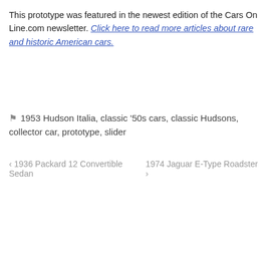This prototype was featured in the newest edition of the Cars On Line.com newsletter. Click here to read more articles about rare and historic American cars.
1953 Hudson Italia, classic '50s cars, classic Hudsons, collector car, prototype, slider
< 1936 Packard 12 Convertible Sedan   1974 Jaguar E-Type Roadster >